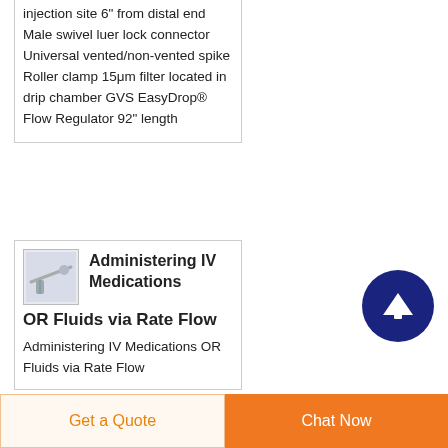injection site 6" from distal end Male swivel luer lock connector Universal vented/non-vented spike Roller clamp 15μm filter located in drip chamber GVS EasyDrop® Flow Regulator 92" length
Administering IV Medications OR Fluids via Rate Flow
Administering IV Medications OR Fluids via Rate Flow
Get a Quote
Chat Now